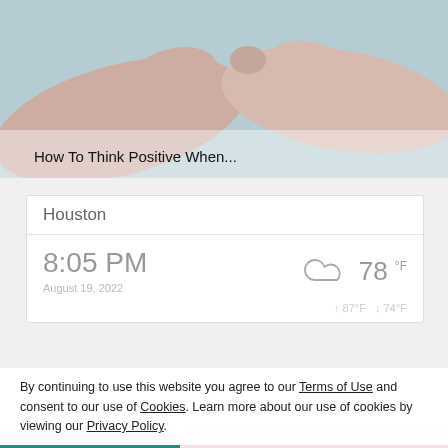[Figure (photo): Close-up photo of hands in a meditation or yoga mudra gesture (fingers touching), with a blurred outdoor background. Text overlay at bottom reads 'How To Think Positive When...']
How To Think Positive When...
Houston
8:05 PM
August 19, 2022
78 °F
↑ 87°F ↓ 74°F
By continuing to use this website you agree to our Terms of Use and consent to our use of Cookies. Learn more about our use of cookies by viewing our Privacy Policy.
ACCEPT
RESIDENT LOGIN